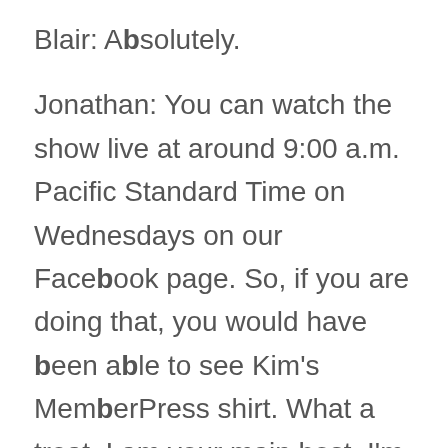Blair: Absolutely.
Jonathan: You can watch the show live at around 9:00 a.m. Pacific Standard Time on Wednesdays on our Facebook page. So, if you are doing that, you would have been able to see Kim's MemberPress shirt. What a treat. I am your main host. I'm the founder of WP-Tonic. We're a maintenance support